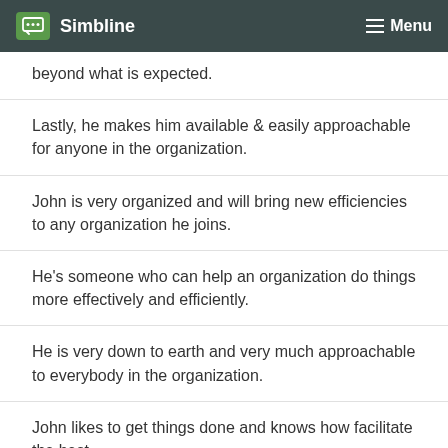Simbline  Menu
beyond what is expected.
Lastly, he makes him available & easily approachable for anyone in the organization.
John is very organized and will bring new efficiencies to any organization he joins.
He's someone who can help an organization do things more effectively and efficiently.
He is very down to earth and very much approachable to everybody in the organization.
John likes to get things done and knows how facilitate the best